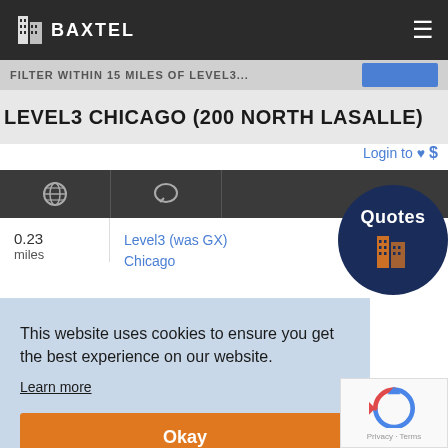Baxtel
LEVEL3 CHICAGO (200 NORTH LASALLE)
Login to ♥ $
[Figure (logo): Baxtel circular badge with building icon and Quotes text]
0.23 miles
Level3 (was GX) Chicago
This website uses cookies to ensure you get the best experience on our website.
Learn more
Okay
miles
(Jackson)
[Figure (other): Google reCAPTCHA widget with Privacy and Terms links]